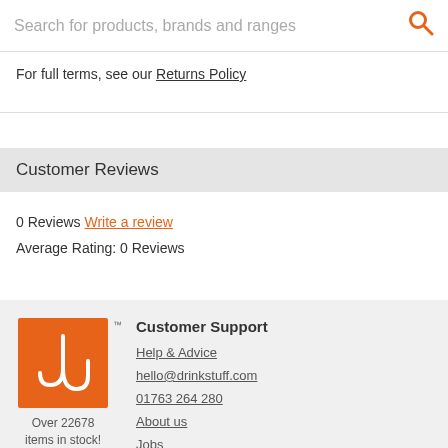Search for products, brands and ranges
For full terms, see our Returns Policy
Customer Reviews
0 Reviews Write a review
Average Rating: 0 Reviews
[Figure (logo): drinkstuff.com orange logo with stylized U/hook symbol, with TM mark. Below: Over 22678 items in stock!]
Customer Support
Help & Advice
hello@drinkstuff.com
01763 264 280
About us
Jobs